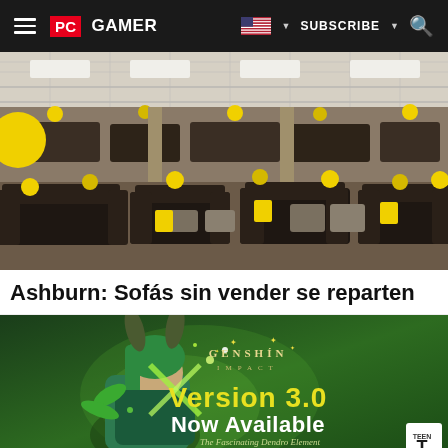PC GAMER | SUBSCRIBE
[Figure (photo): Interior of a furniture showroom with rows of dark leather sofas and couches, yellow price tags and balloons visible throughout the store, fluorescent ceiling lights.]
Ashburn: Sofás sin vender se reparten
[Figure (illustration): Genshin Impact advertisement banner showing an anime character with bunny ears wielding green energy powers. Text reads: GENSHIN IMPACT Version 3.0 Now Available - The Fascinating Dendro Element - Play Now. TEEN rating badge in bottom right corner.]